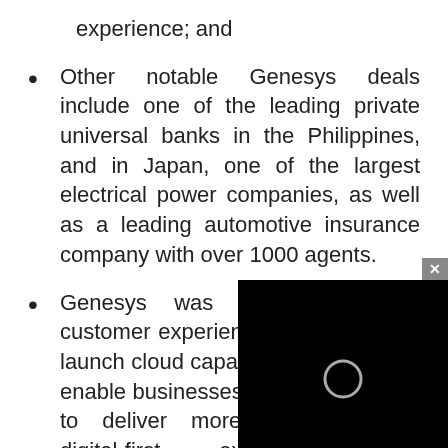experience; and
Other notable Genesys deals include one of the leading private universal banks in the Philippines, and in Japan, one of the largest electrical power companies, as well as a leading automotive insurance company with over 1000 agents.
Genesys was the first global customer experience organisation to launch cloud capabilities in India and enable businesses across all sectors to deliver more personalised digital-first experiences using Genesys Cloud.
Genesys bolstered its Asia Pacific momentum with new appointments to...